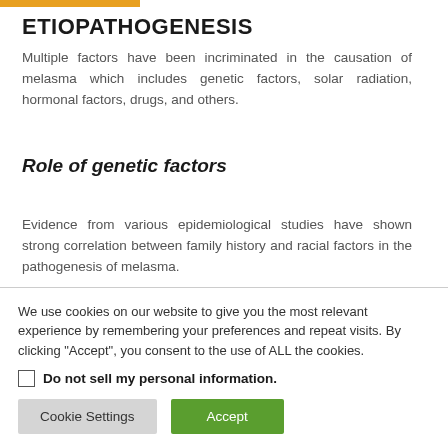ETIOPATHOGENESIS
Multiple factors have been incriminated in the causation of melasma which includes genetic factors, solar radiation, hormonal factors, drugs, and others.
Role of genetic factors
Evidence from various epidemiological studies have shown strong correlation between family history and racial factors in the pathogenesis of melasma.
We use cookies on our website to give you the most relevant experience by remembering your preferences and repeat visits. By clicking “Accept”, you consent to the use of ALL the cookies.
Do not sell my personal information
Cookie Settings   Accept